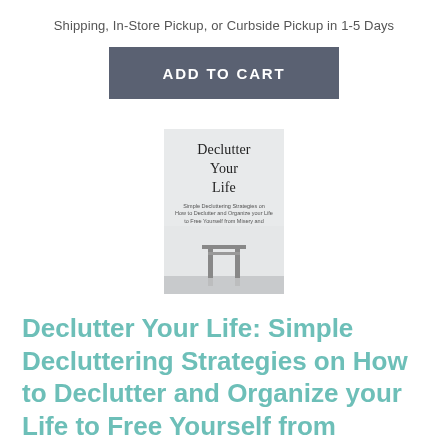Shipping, In-Store Pickup, or Curbside Pickup in 1-5 Days
ADD TO CART
[Figure (photo): Book cover of 'Declutter Your Life' with subtitle text and a minimalist photo of a torii gate in still water at the bottom]
Declutter Your Life: Simple Decluttering Strategies on How to Declutter and Organize your Life to Free Yourself from